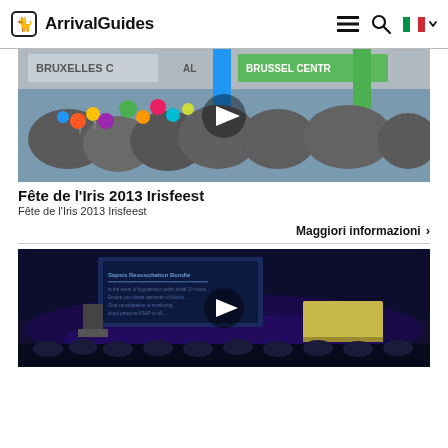ArrivalGuides
[Figure (photo): Outdoor street festival with colorful balloons and crowd of people near Brussels Central station, with a play button overlay indicating a video]
Fête de l'Iris 2013 Irisfeest
Fête de l'Iris 2013 Irisfeest
Maggiori informazioni >
[Figure (photo): Conference hall with audience, speaker at podium, and a large screen showing a Sepsis Resuscitation Bundle presentation, with a play button overlay indicating a video]